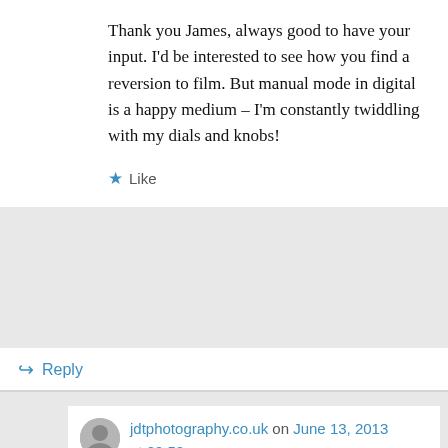Thank you James, always good to have your input. I'd be interested to see how you find a reversion to film. But manual mode in digital is a happy medium – I'm constantly twiddling with my dials and knobs!
★ Like
↪ Reply
jdtphotography.co.uk on June 13, 2013 at 09:50
Will let you know as I get out and about. Lol!
★ Like